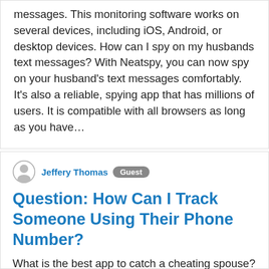messages. This monitoring software works on several devices, including iOS, Android, or desktop devices. How can I spy on my husbands text messages? With Neatspy, you can now spy on your husband's text messages comfortably. It's also a reliable, spying app that has millions of users. It is compatible with all browsers as long as you have…
Jeffery Thomas  Guest
Question: How Can I Track Someone Using Their Phone Number?
What is the best app to catch a cheating spouse? mSpymSpy.Arguably the most excellent app to catch someone cheating,